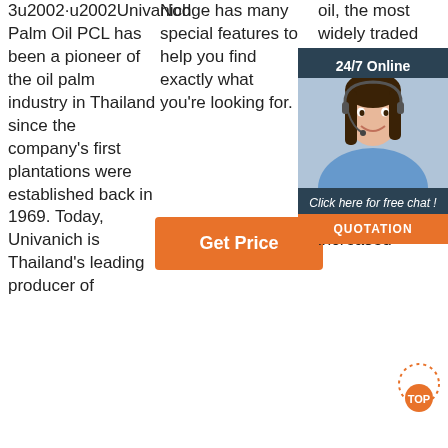3u2002·u2002Univanich Palm Oil PCL has been a pioneer of the oil palm industry in Thailand since the company's first plantations were established back in 1969. Today, Univanich is Thailand's leading producer of
Nodge has many special features to help you find exactly what you're looking for.
[Figure (other): Orange 'Get Price' button]
oil, the most widely traded edible oil, has also seen significant leading production plantation production also from 20 Malaysia and Indonesia contributing to most of the increased
[Figure (other): 24/7 Online chat widget overlay with woman wearing headset, 'Click here for free chat!' text, and orange QUOTATION button]
[Figure (other): Orange TOP badge with dotted circle]